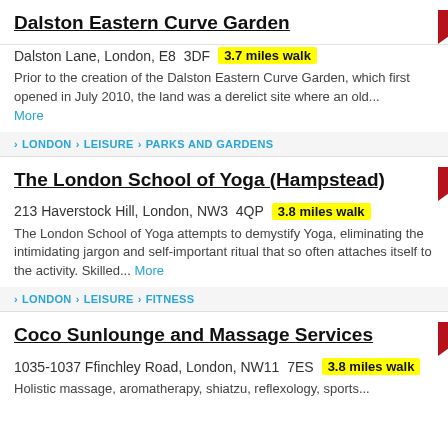Dalston Eastern Curve Garden
Dalston Lane, London, E8 3DF  3.7 miles walk
Prior to the creation of the Dalston Eastern Curve Garden, which first opened in July 2010, the land was a derelict site where an old... More
LONDON > LEISURE > PARKS AND GARDENS
The London School of Yoga (Hampstead)
213 Haverstock Hill, London, NW3 4QP  3.8 miles walk
The London School of Yoga attempts to demystify Yoga, eliminating the intimidating jargon and self-important ritual that so often attaches itself to the activity. Skilled... More
LONDON > LEISURE > FITNESS
Coco Sunlounge and Massage Services
1035-1037 Ffinchley Road, London, NW11 7ES  3.8 miles walk
Holistic massage, aromatherapy, shiatzu, reflexology, sports...